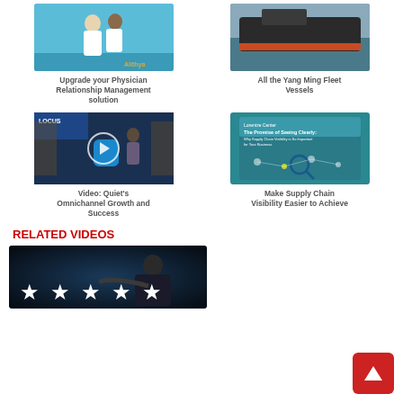[Figure (photo): Two medical professionals in white coats in a healthcare setting with blue accent, Alithya branding]
Upgrade your Physician Relationship Management solution
[Figure (photo): Large cargo ship at sea, dark hull with orange stripe]
All the Yang Ming Fleet Vessels
[Figure (photo): Warehouse worker with blue cylindrical robot/device, Locus Robotics branding, with video play button overlay]
Video: Quiet's Omnichannel Growth and Success
[Figure (photo): Supply chain visibility ebook cover - The Promise of Seeing Clearly with icons]
Make Supply Chain Visibility Easier to Achieve
RELATED VIDEOS
[Figure (photo): Person in suit touching five white stars in dark background - rating/review concept]